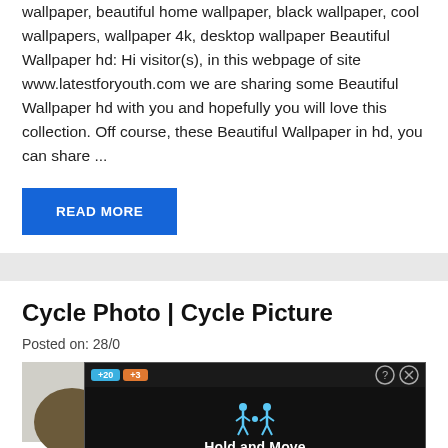Wallpaper, beautiful home wallpaper, black wallpaper, cool wallpapers, wallpaper 4k, desktop wallpaper Beautiful Wallpaper hd: Hi visitor(s), in this webpage of site www.latestforyouth.com we are sharing some Beautiful Wallpaper hd with you and hopefully you will love this collection. Off course, these Beautiful Wallpaper in hd, you can share ...
READ MORE
Cycle Photo | Cycle Picture
Posted on: 28/0...
[Figure (screenshot): Partial outdoor photo with trees, overlaid by a dark game or app advertisement overlay showing pedestrian icons and 'Hold and Move' label, with +20 and +3 score chips, close and help icons.]